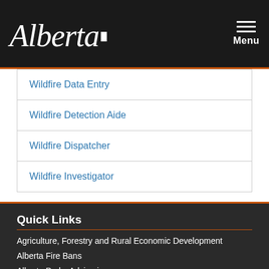Alberta (logo) | Menu
Wildfire Data Entry
Wildfire Detection Aide
Wildfire Dispatcher
Wildfire Investigator
Quick Links
Agriculture, Forestry and Rural Economic Development
Alberta Fire Bans
Alberta Parks Advisories
Alberta Wildfire App for Android
Alberta Wildfire App for iPhone